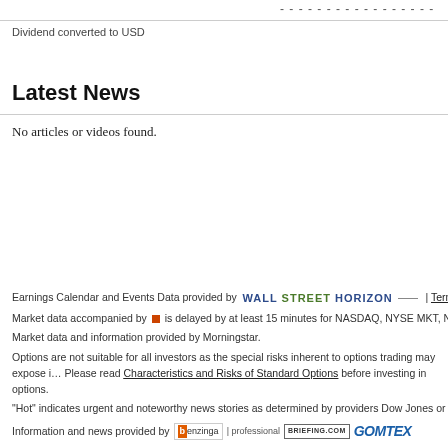- - - - - - - - - - - - - - - - -
Dividend converted to USD
Latest News
No articles or videos found.
Earnings Calendar and Events Data provided by WALL STREET HORIZON — | Terms of Use | © 2
Market data accompanied by ■ is delayed by at least 15 minutes for NASDAQ, NYSE MKT, NYSE, and
Market data and information provided by Morningstar.
Options are not suitable for all investors as the special risks inherent to options trading may expose i… Please read Characteristics and Risks of Standard Options before investing in options.
"Hot" indicates urgent and noteworthy news stories as determined by providers Dow Jones or Benz…
Information and news provided by [Benzinga] | professional | BRIEFING.COM | GOMTEX